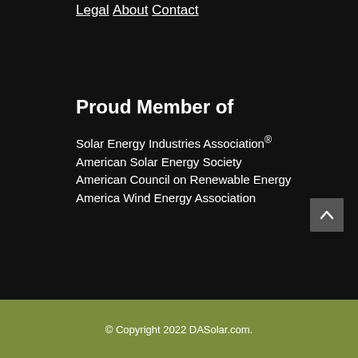Legal
About
Contact
Proud Member of
Solar Energy Industries Association®
American Solar Energy Society
American Council on Renewable Energy
America Wind Energy Association
© Copyright 2022 DASolar.com.